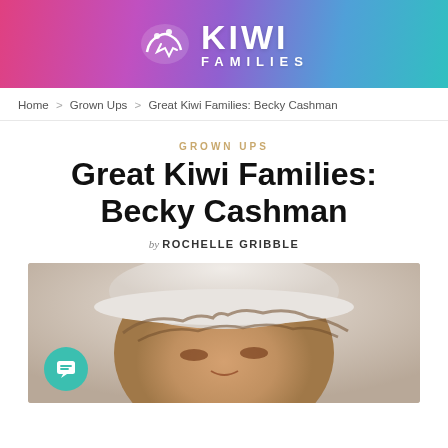KIWI FAMILIES
Home > Grown Ups > Great Kiwi Families: Becky Cashman
GROWN UPS
Great Kiwi Families: Becky Cashman
by ROCHELLE GRIBBLE
[Figure (photo): Photo of Becky Cashman, a woman with windswept brown hair wearing a white cap, smiling, shot from slightly below against a light background.]